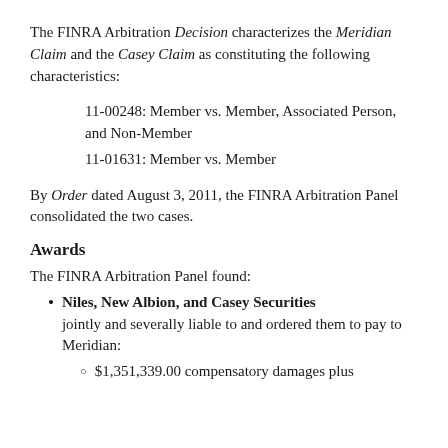The FINRA Arbitration Decision characterizes the Meridian Claim and the Casey Claim as constituting the following characteristics:
11-00248: Member vs. Member, Associated Person, and Non-Member
11-01631: Member vs. Member
By Order dated August 3, 2011, the FINRA Arbitration Panel consolidated the two cases.
Awards
The FINRA Arbitration Panel found:
Niles, New Albion, and Casey Securities jointly and severally liable to and ordered them to pay to Meridian:
$1,351,339.00 compensatory damages plus